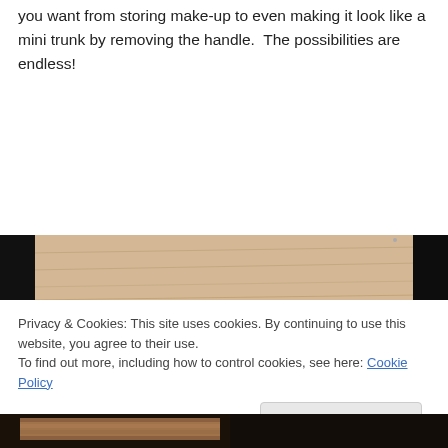you want from storing make-up to even making it look like a mini trunk by removing the handle.  The possibilities are endless!
[Figure (photo): Close-up photo of an unfinished wooden box/trunk interior, showing light natural wood panels and construction details, on a dark background.]
Privacy & Cookies: This site uses cookies. By continuing to use this website, you agree to their use.
To find out more, including how to control cookies, see here: Cookie Policy
[Figure (photo): Partial photo of wooden construction at bottom of page.]